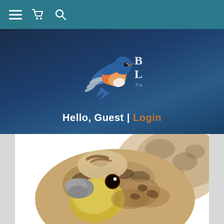Navigation bar with menu, cart, and search icons
[Figure (logo): Bluebird Landing logo with a bluebird in flight and text 'Bluebird Landing — Passion for Nature']
Hello, Guest | Login
[Figure (photo): Close-up photo of a realistic bird stuffed animal/plush toy — a sparrow or similar bird with brown/tan mottled feathers, yellow throat, and a gray beak, looking directly at the viewer. Wings visible in background, blurred.]